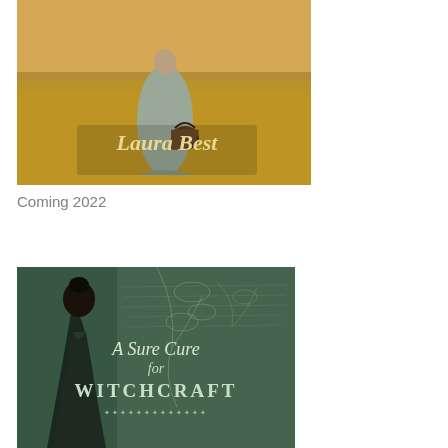[Figure (illustration): Book cover image showing a person in period clothing holding a basket, standing in a field. Author name 'Laura Best' is displayed in golden text on the cover.]
Coming 2022
[Figure (illustration): Book cover for 'A Sure Cure for Witchcraft' showing a person with dark hair viewed from behind, with botanical illustration background in green tones. The title text shows 'A Sure Cure for Witchcraft' in white lettering.]